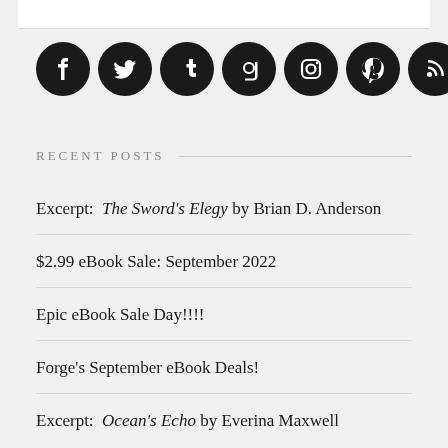[Figure (infographic): Row of 7 social media icons (Facebook, Twitter, Tumblr, Goodreads, Instagram, Pinterest, RSS) as white symbols on black circles]
RECENT POSTS
Excerpt: The Sword's Elegy by Brian D. Anderson
$2.99 eBook Sale: September 2022
Epic eBook Sale Day!!!!
Forge's September eBook Deals!
Excerpt: Ocean's Echo by Everina Maxwell